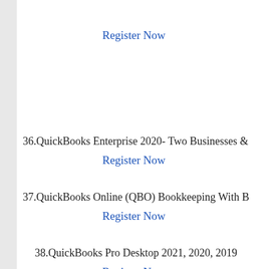Register Now
36.QuickBooks Enterprise 2020- Two Businesses &
Register Now
37.QuickBooks Online (QBO) Bookkeeping With B
Register Now
38.QuickBooks Pro Desktop 2021, 2020, 2019
Register Now
39.Accounting–Financial Accounting Total-Beginne
Register Now